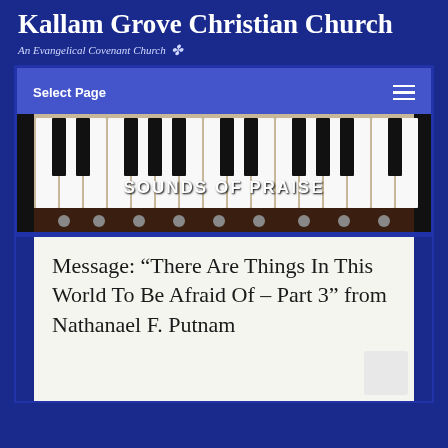Kallam Grove Christian Church
An Evangelical Covenant Church ✤
Select Page
[Figure (photo): Piano keyboard close-up with text 'SOUNDS OF PRAISE' overlaid in white bold letters on the keys]
Message: “There Are Things In This World To Be Afraid Of – Part 3” from Nathanael F. Putnam